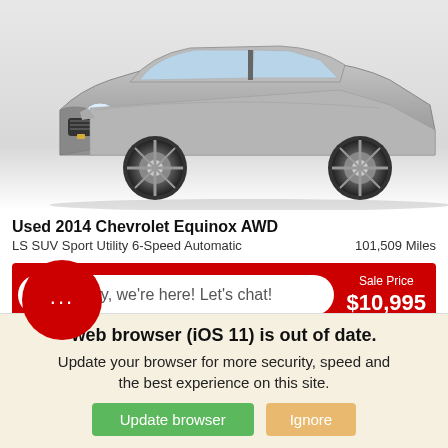[Figure (photo): Photo of a silver 2014 Chevrolet Equinox AWD SUV, front three-quarter view on white background]
Used 2014 Chevrolet Equinox AWD
LS SUV Sport Utility 6-Speed Automatic   101,509 Miles
Hey, we're here! Let's chat!   Sale Price $10,995
*Last Name
web browser (iOS 11) is out of date. Update your browser for more security, speed and the best experience on this site.
Update browser   Ignore